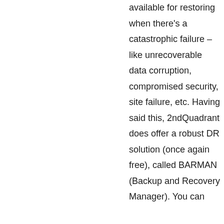available for restoring when there's a catastrophic failure – like unrecoverable data corruption, compromised security, site failure, etc. Having said this, 2ndQuadrant does offer a robust DR solution (once again free), called BARMAN (Backup and Recovery Manager). You can